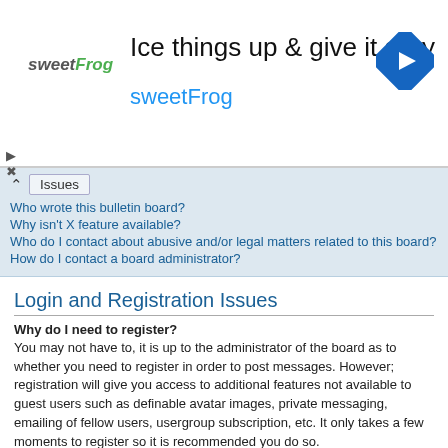[Figure (other): Advertisement banner for sweetFrog frozen yogurt: headline 'Ice things up & give it a try', brand name 'sweetFrog' in blue, logo on left, blue diamond arrow icon on right, with play and close icons.]
Who wrote this bulletin board?
Why isn't X feature available?
Who do I contact about abusive and/or legal matters related to this board?
How do I contact a board administrator?
Login and Registration Issues
Why do I need to register?
You may not have to, it is up to the administrator of the board as to whether you need to register in order to post messages. However; registration will give you access to additional features not available to guest users such as definable avatar images, private messaging, emailing of fellow users, usergroup subscription, etc. It only takes a few moments to register so it is recommended you do so.
Κορυφή
What is COPPA?
COPPA, or the Children's Online Privacy Protection Act of 1998, is a law in the United States...